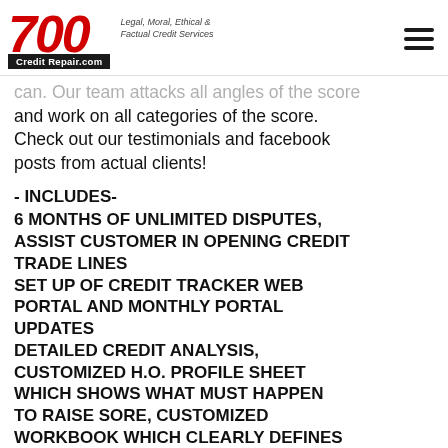700 Credit Repair.com | Legal, Moral, Ethical & Factual Credit Services
and work on all categories of the score. Check out our testimonials and facebook posts from actual clients!
- INCLUDES-
6 MONTHS OF UNLIMITED DISPUTES, ASSIST CUSTOMER IN OPENING CREDIT TRADE LINES
SET UP OF CREDIT TRACKER WEB PORTAL AND MONTHLY PORTAL UPDATES
DETAILED CREDIT ANALYSIS, CUSTOMIZED H.O. PROFILE SHEET WHICH SHOWS WHAT MUST HAPPEN TO RAISE SORE, CUSTOMIZED WORKBOOK WHICH CLEARLY DEFINES SPECIFIC GAME PLAN, TIME FRAME AND